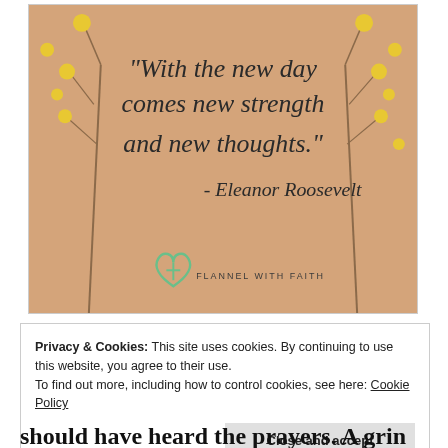[Figure (illustration): Inspirational quote card with beige/tan background, yellow flowers on branches on left and right sides. Quote reads: "With the new day comes new strength and new thoughts." - Eleanor Roosevelt. Brand logo 'FLANNEL WITH FAITH' at bottom with heart+cross icon.]
Privacy & Cookies: This site uses cookies. By continuing to use this website, you agree to their use.
To find out more, including how to control cookies, see here: Cookie Policy
Close and accept
should have heard the prayers. A grin